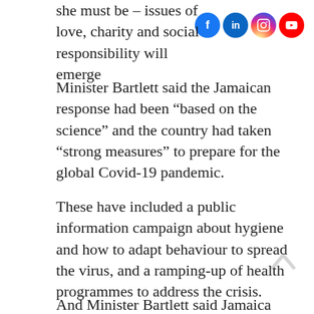she must be – issues of love, charity and social responsibility will emerge
Minister Bartlett said the Jamaican response had been “based on the science” and the country had taken “strong measures” to prepare for the global Covid-19 pandemic.
These have included a public information campaign about hygiene and how to adapt behaviour to spread the virus, and a ramping-up of health programmes to address the crisis.
And Minister Bartlett said Jamaica had